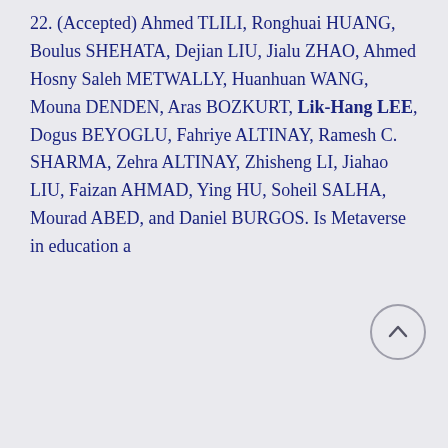22. (Accepted) Ahmed TLILI, Ronghuai HUANG, Boulus SHEHATA, Dejian LIU, Jialu ZHAO, Ahmed Hosny Saleh METWALLY, Huanhuan WANG, Mouna DENDEN, Aras BOZKURT, Lik-Hang LEE, Dogus BEYOGLU, Fahriye ALTINAY, Ramesh C. SHARMA, Zehra ALTINAY, Zhisheng LI, Jiahao LIU, Faizan AHMAD, Ying HU, Soheil SALHA, Mourad ABED, and Daniel BURGOS. Is Metaverse in education a